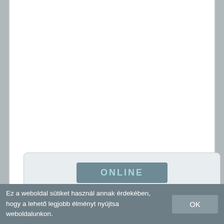[Figure (screenshot): A white content area with a light gray rounded panel containing a dark gray button labeled ONLINE in light blue text]
Ez a weboldal sütiket használ annak érdekében, hogy a lehető legjobb élményt nyújtsa weboldalunkon.